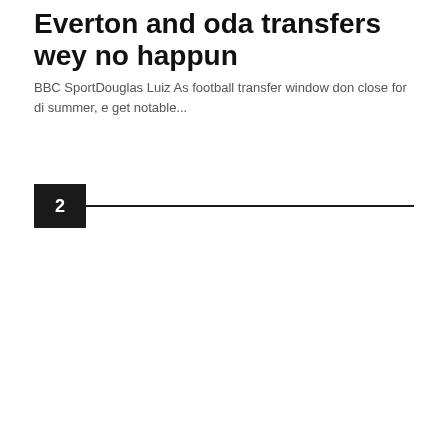Everton and oda transfers wey no happun
BBC SportDouglas Luiz As football transfer window don close for di summer, e get notable...
2